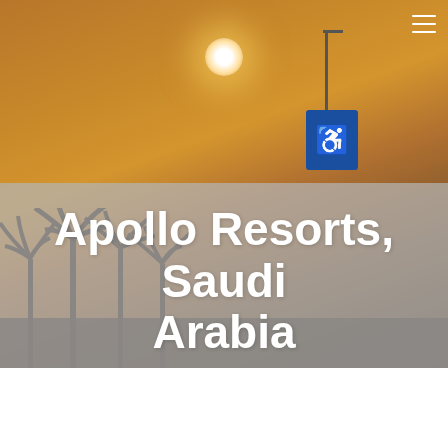[Figure (photo): Sunset photo in Saudi Arabia showing palm tree silhouettes against an orange sky with a bright sun, a blue wheelchair accessibility sign, and a streetlamp. A gray band overlays the lower portion of the image.]
Apollo Resorts, Saudi Arabia